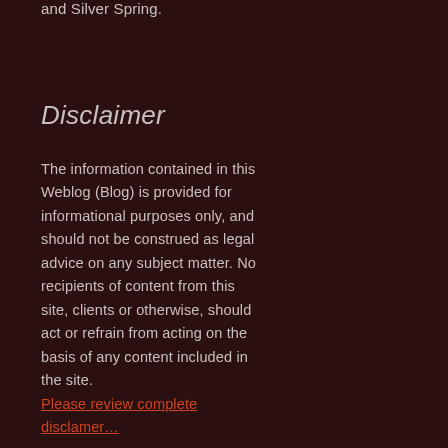and Silver Spring.
Disclaimer
The information contained in this Weblog (Blog) is provided for informational purposes only, and should not be construed as legal advice on any subject matter. No recipients of content from this site, clients or otherwise, should act or refrain from acting on the basis of any content included in the site. Please review complete disclamer…